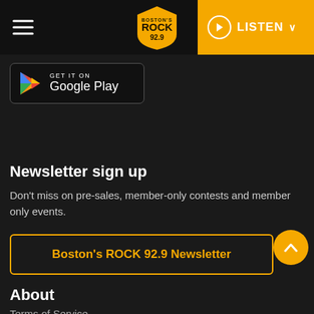Boston's ROCK 92.9 — LISTEN
[Figure (logo): Get it on Google Play badge with colorful triangle play icon]
Newsletter sign up
Don't miss on pre-sales, member-only contests and member only events.
Boston's ROCK 92.9 Newsletter
About
Terms of Service